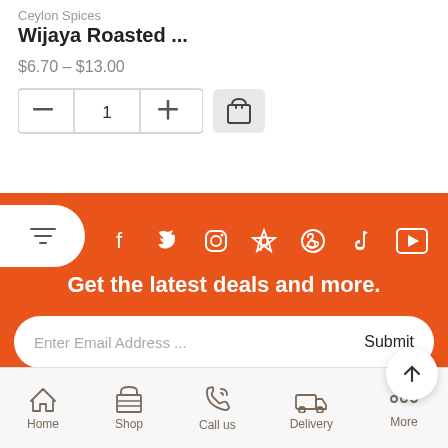Ceylon Spices
Wijaya Roasted ...
$6.70 – $13.00
[Figure (screenshot): Quantity selector with minus button, 1, plus button, and a shopping cart icon button]
[Figure (screenshot): Orange footer section with filter pill, social media icons (Facebook, Twitter, Instagram, Pinterest, WhatsApp, TikTok, YouTube), email signup bar with Submit button, scroll-to-top button, and bottom navigation bar with Home, Shop, Call us, Delivery, More icons]
Get the latest deals and more.
Enter Email Address ...
Submit
Home  Shop  Call us  Delivery  More